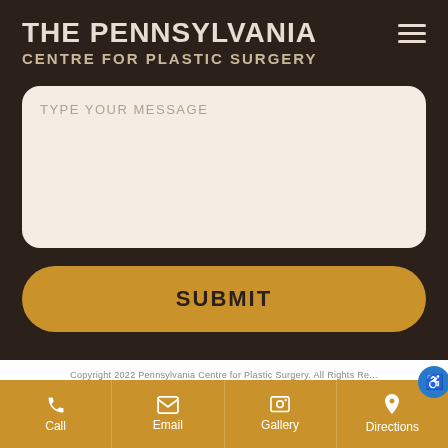THE PENNSYLVANIA CENTRE FOR PLASTIC SURGERY
[Figure (screenshot): Message text area input field with placeholder text TYPE YOUR MESSAGE on a cream/beige background with rounded corners]
SUBMIT
Copyright 2022 Pennsylvania Centre for Plastic Surgery. All Rights Reserved.
Call | Email | Gallery | Directions